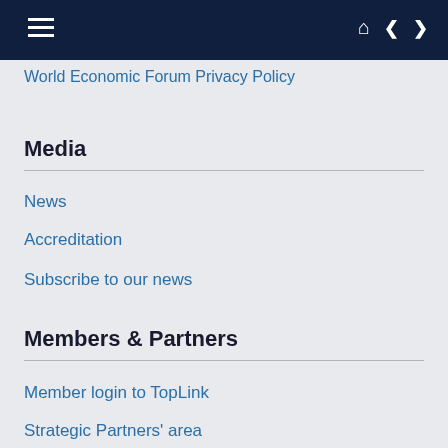World Economic Forum Privacy Policy
Media
News
Accreditation
Subscribe to our news
Members & Partners
Member login to TopLink
Strategic Partners' area
Partner Institutes' area